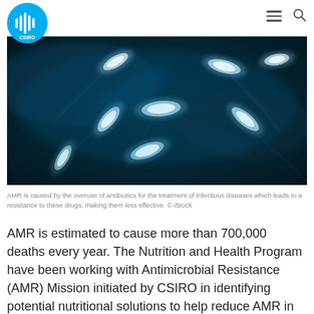CSIRO
[Figure (photo): Microscopic glowing blue-white bacteria/rod-shaped microorganisms on dark teal background — illustrating antimicrobial resistance (AMR)]
AMR is caused by the overuse of antibiotics for the treatment of infectious diseases which leads to a resistance to these drugs, making them less effective. © iStock
AMR is estimated to cause more than 700,000 deaths every year. The Nutrition and Health Program have been working with Antimicrobial Resistance (AMR) Mission initiated by CSIRO in identifying potential nutritional solutions to help reduce AMR in humans.